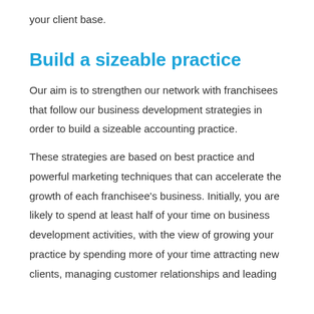your client base.
Build a sizeable practice
Our aim is to strengthen our network with franchisees that follow our business development strategies in order to build a sizeable accounting practice.
These strategies are based on best practice and powerful marketing techniques that can accelerate the growth of each franchisee's business. Initially, you are likely to spend at least half of your time on business development activities, with the view of growing your practice by spending more of your time attracting new clients, managing customer relationships and leading